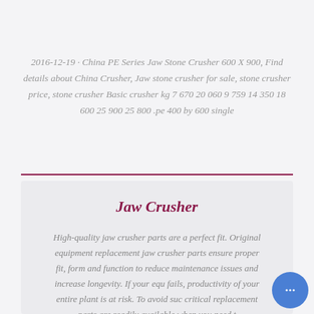2016-12-19 · China PE Series Jaw Stone Crusher 600 X 900, Find details about China Crusher, Jaw stone crusher for sale, stone crusher price, stone crusher Basic crusher kg 7 670 20 060 9 759 14 350 18 600 25 900 25 800 .pe 400 by 600 single
Jaw Crusher
High-quality jaw crusher parts are a perfect fit. Original equipment replacement jaw crusher parts ensure proper fit, form and function to reduce maintenance issues and increase longevity. If your equ fails, productivity of your entire plant is at risk. To avoid suc critical replacement parts are readily available when you need t